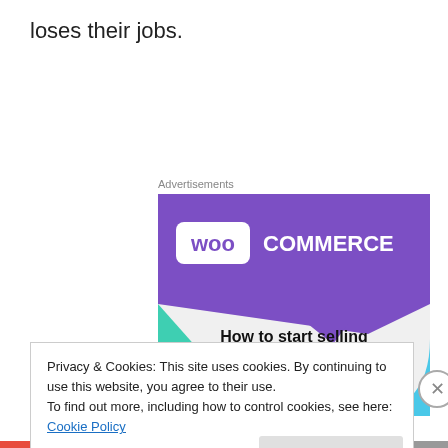loses their jobs.
Advertisements
[Figure (illustration): WooCommerce advertisement showing logo on purple background with text 'How to start selling subscriptions online' and decorative teal and blue shapes]
Privacy & Cookies: This site uses cookies. By continuing to use this website, you agree to their use.
To find out more, including how to control cookies, see here: Cookie Policy
Close and accept